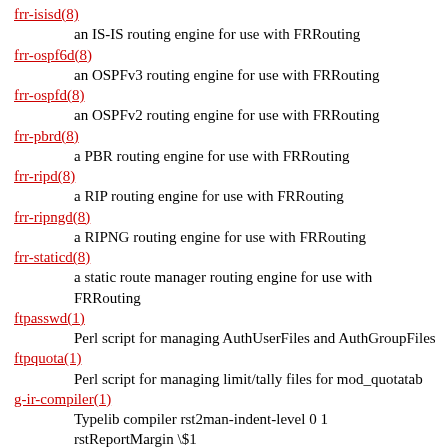frr-isisd(8)
    an IS-IS routing engine for use with FRRouting
frr-ospf6d(8)
    an OSPFv3 routing engine for use with FRRouting
frr-ospfd(8)
    an OSPFv2 routing engine for use with FRRouting
frr-pbrd(8)
    a PBR routing engine for use with FRRouting
frr-ripd(8)
    a RIP routing engine for use with FRRouting
frr-ripngd(8)
    a RIPNG routing engine for use with FRRouting
frr-staticd(8)
    a static route manager routing engine for use with FRRouting
ftpasswd(1)
    Perl script for managing AuthUserFiles and AuthGroupFiles
ftpquota(1)
    Perl script for managing limit/tally files for mod_quotatab
g-ir-compiler(1)
    Typelib compiler rst2man-indent-level 0 1
    rstReportMargin \$1
g-ir-doc-tool(1)